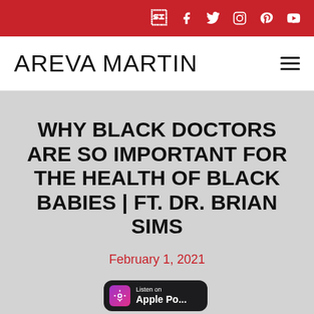Social media icons: Facebook, Twitter, Instagram, Pinterest, YouTube
AREVA MARTIN
WHY BLACK DOCTORS ARE SO IMPORTANT FOR THE HEALTH OF BLACK BABIES | FT. DR. BRIAN SIMS
February 1, 2021
[Figure (logo): Listen on Apple Podcasts badge]